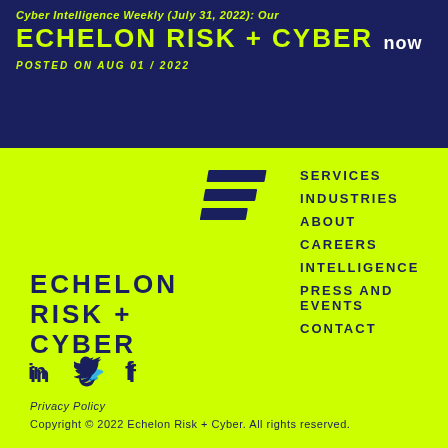Cyber Intelligence Weekly (July 31, 2022): Our
ECHELON RISK + CYBER now
POSTED ON AUG 01 / 2022
[Figure (logo): Echelon Risk + Cyber stylized E logo mark in dark navy on yellow background]
SERVICES
INDUSTRIES
ABOUT
CAREERS
INTELLIGENCE
PRESS AND EVENTS
CONTACT
ECHELON RISK + CYBER
[Figure (logo): LinkedIn, Twitter, Facebook social media icons in dark navy]
Privacy Policy
Copyright © 2022 Echelon Risk + Cyber. All rights reserved.